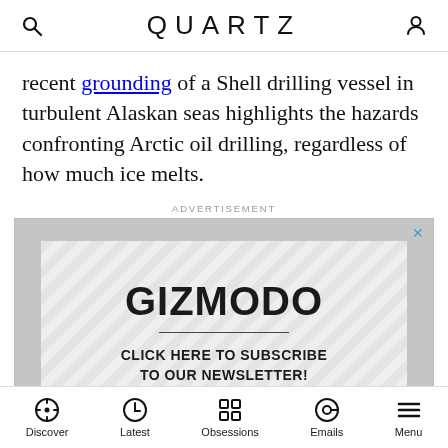QUARTZ
recent grounding of a Shell drilling vessel in turbulent Alaskan seas highlights the hazards confronting Arctic oil drilling, regardless of how much ice melts.
ADVERTISEMENT
[Figure (screenshot): Gizmodo advertisement banner with diagonal stripe background, bold GIZMODO logo, and text 'CLICK HERE TO SUBSCRIBE TO OUR NEWSLETTER!']
Discover  Latest  Obsessions  Emails  Menu